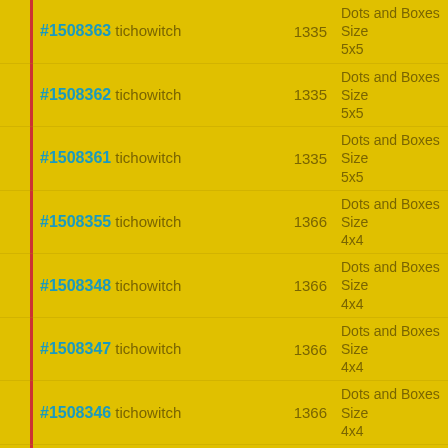| ID / User | Score | Description |
| --- | --- | --- |
| #1508363 tichowitch | 1335 | Dots and Boxes Size 5x5 |
| #1508362 tichowitch | 1335 | Dots and Boxes Size 5x5 |
| #1508361 tichowitch | 1335 | Dots and Boxes Size 5x5 |
| #1508355 tichowitch | 1366 | Dots and Boxes Size 4x4 |
| #1508348 tichowitch | 1366 | Dots and Boxes Size 4x4 |
| #1508347 tichowitch | 1366 | Dots and Boxes Size 4x4 |
| #1508346 tichowitch | 1366 | Dots and Boxes Size 4x4 |
| #1508342 tichowitch | 1335 | Dots and Boxes Size 5x5 |
| #1508341 tichowitch | 1366 | Dots and Boxes Size 4x4 |
| #1508339 tichowitch | 1366 | Dots and Boxes Size 4x4 |
| #1508338 tichowitch | 1366 | Dots and Boxes Size 4x4 |
| #1508337 tichowitch | 1335 | Dots and Boxes Size ... |